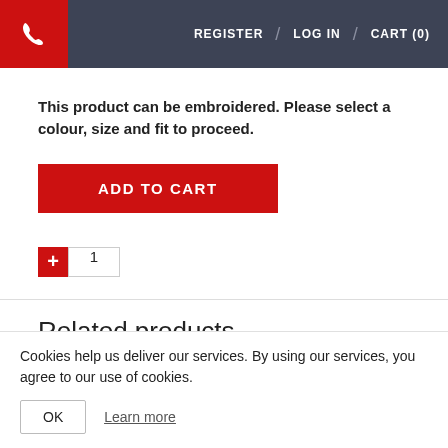REGISTER / LOG IN / CART (0)
This product can be embroidered. Please select a colour, size and fit to proceed.
ADD TO CART
1
Related products
100% Cotton T-Shirt
Cookies help us deliver our services. By using our services, you agree to our use of cookies.
OK
Learn more